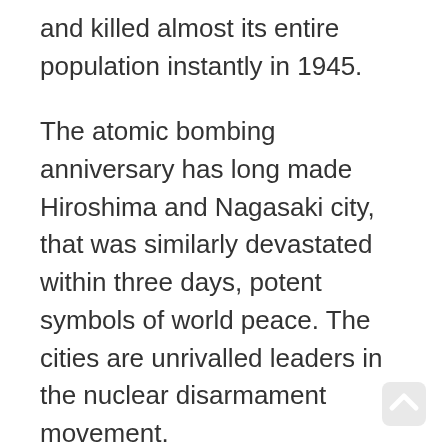and killed almost its entire population instantly in 1945.
The atomic bombing anniversary has long made Hiroshima and Nagasaki city, that was similarly devastated within three days, potent symbols of world peace. The cities are unrivalled leaders in the nuclear disarmament movement.
Like Oishi, the thousands of peace activists, officials and politicians who will rally at Hiroshima to declare their commitment towards a world without nuclear weapons, will also call for a ban